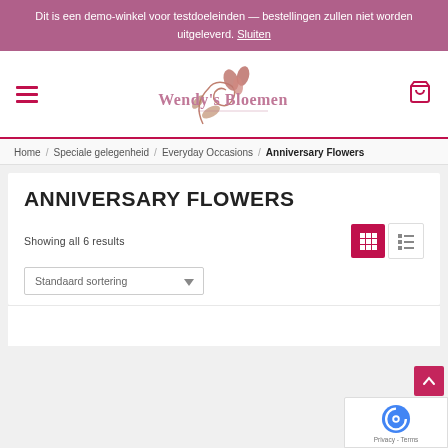Dit is een demo-winkel voor testdoeleinden — bestellingen zullen niet worden uitgeleverd. Sluiten
[Figure (logo): Wendy's Bloemen logo with decorative flower/swirl illustration and store name in pink cursive text]
Home / Speciale gelegenheid / Everyday Occasions / Anniversary Flowers
ANNIVERSARY FLOWERS
Showing all 6 results
Standaard sortering